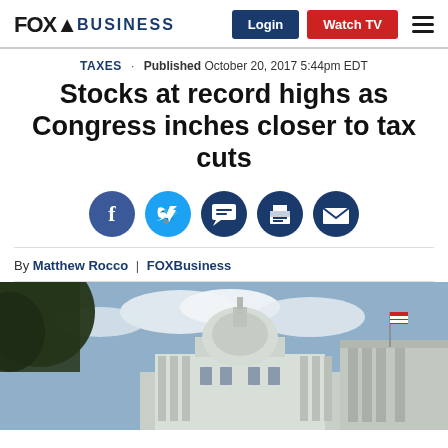FOX BUSINESS — Login | Watch TV
TAXES · Published October 20, 2017 5:44pm EDT
Stocks at record highs as Congress inches closer to tax cuts
[Figure (infographic): Social sharing buttons: Facebook, Twitter, Comments, Print, Email]
By Matthew Rocco | FOXBusiness
[Figure (photo): Photo of the U.S. Capitol building dome with trees and sky in background]